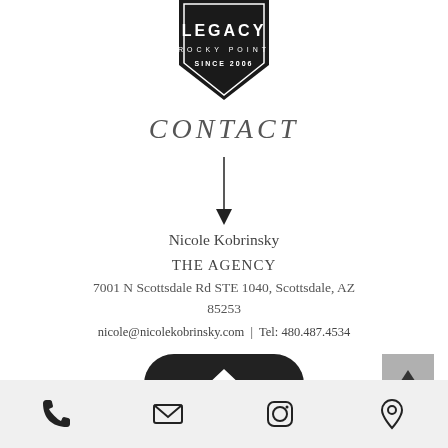[Figure (logo): Legacy Rocky Point Since 2006 badge logo in dark/black color]
CONTACT
[Figure (illustration): Downward pointing arrow]
Nicole Kobrinsky
THE AGENCY
7001 N Scottsdale Rd STE 1040, Scottsdale, AZ 85253
nicole@nicolekobrinsky.com  |  Tel: 480.487.4534
[Figure (illustration): Dark rounded rectangle button with white house/home icon]
[Figure (illustration): Grey square up-arrow back-to-top button]
[Figure (illustration): Footer bar with phone, email, Instagram, and location pin icons]